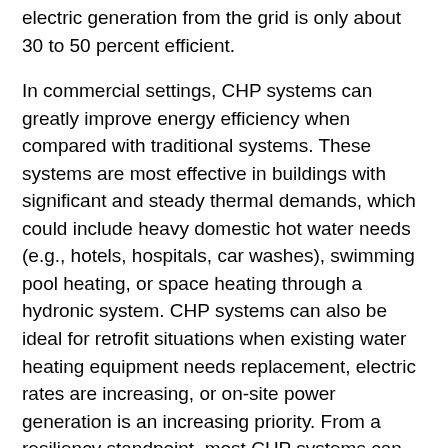electric generation from the grid is only about 30 to 50 percent efficient.
In commercial settings, CHP systems can greatly improve energy efficiency when compared with traditional systems. These systems are most effective in buildings with significant and steady thermal demands, which could include heavy domestic hot water needs (e.g., hotels, hospitals, car washes), swimming pool heating, or space heating through a hydronic system. CHP systems can also be ideal for retrofit situations when existing water heating equipment needs replacement, electric rates are increasing, or on-site power generation is an increasing priority. From a resiliency standpoint, most CHP systems can be used for standby power during grid-based power outages.
In many states it is even possible to sell extra electricity produced by the CHP system back to the energy grid. Where this “net metering” is permitted, these programs allow utilities to issue kilowatt-hour credits to customers, who can use them to offset any electricity consumed from the grid. In most cases, the transfer is accomplished through a bidirectional meter. The meter